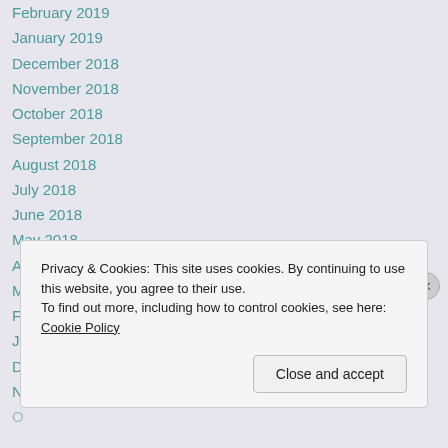February 2019
January 2019
December 2018
November 2018
October 2018
September 2018
August 2018
July 2018
June 2018
May 2018
April 2018
March 2018
February 2018
January 2018
December 2017
November 2017
October 2017
Privacy & Cookies: This site uses cookies. By continuing to use this website, you agree to their use.
To find out more, including how to control cookies, see here: Cookie Policy
Close and accept